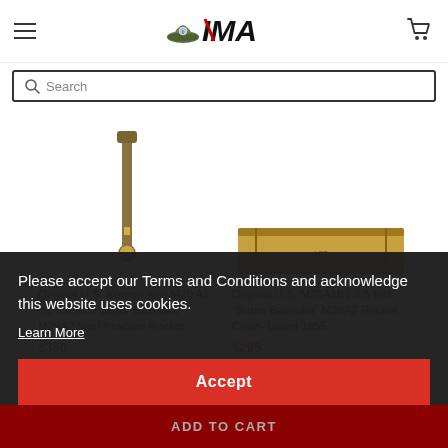[Figure (logo): IMA (International Military Antiques) logo with military helmet and stylized text]
Search
[Figure (photo): Original U.S. Korean War M20 A1 B1 3.5 Inch Super Bazooka M29A2 Inert Practice Rocket - product image]
Original U.S. Korean War M20 A1 B1 3.5 Inch Super Bazooka M29A2 Inert Practice Rocket
$350
[Figure (photo): Original U.S. M20A1B1 3.5 Inch Super Bazooka M28A2 Rocket Crate - product image]
Original U.S. M20A1B1 3.5 Inch "Super Bazooka" M28A2 Rocket Crate- Dated 1955
$295
Please accept our Terms and Conditions and acknowledge this website uses cookies.
Learn More
Accept
ADD TO CART